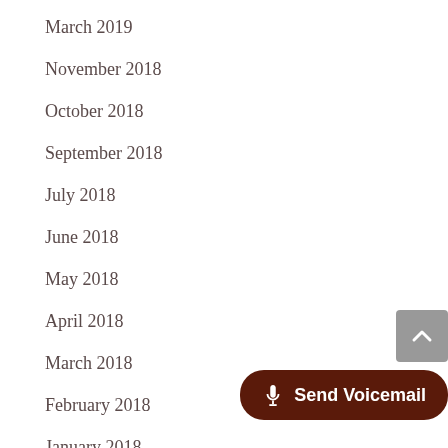March 2019
November 2018
October 2018
September 2018
July 2018
June 2018
May 2018
April 2018
March 2018
February 2018
January 2018
December 2017
November 2017